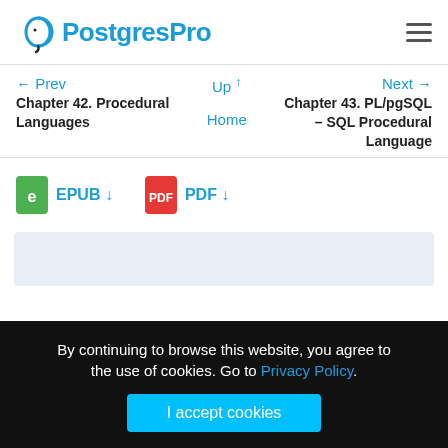PostgresPro
← Prev  Up ↑  Next →
Chapter 42. Procedural Languages  Home  Chapter 43. PL/pgSQL – SQL Procedural Language
EPUB ↓   PDF ↓
By continuing to browse this website, you agree to the use of cookies. Go to Privacy Policy.
I accept cookies